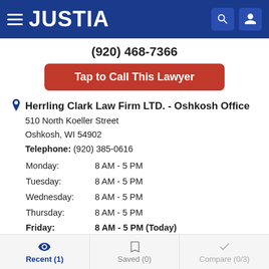JUSTIA
(920) 468-7366
Tap to Call This Lawyer
Herrling Clark Law Firm LTD. - Oshkosh Office
510 North Koeller Street
Oshkosh, WI 54902
Telephone: (920) 385-0616
| Day | Hours |
| --- | --- |
| Monday: | 8 AM - 5 PM |
| Tuesday: | 8 AM - 5 PM |
| Wednesday: | 8 AM - 5 PM |
| Thursday: | 8 AM - 5 PM |
| Friday: | 8 AM - 5 PM (Today) |
| Saturday: | Closed |
| Sunday: | Closed |
Recent (1)  Saved (0)  Compare (0/3)